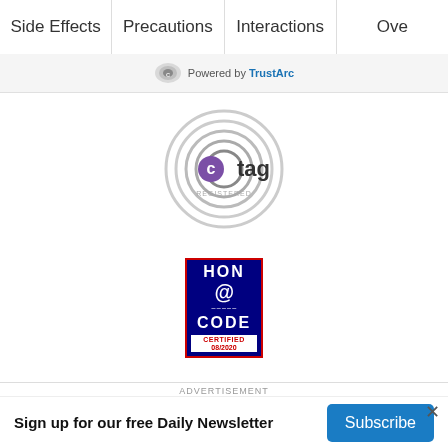Side Effects | Precautions | Interactions | Ove...
[Figure (logo): TrustArc powered by logo bar]
[Figure (logo): TAG Registered logo — concentric circles with 'ctag' text and 'REGISTERED' label]
[Figure (logo): HON CODE CERTIFIED 08/2020 badge — red border, dark blue background]
AdChoices
© 2005 - 2022 WebMD LLC. All rights reserved.
WebMD does not provide medical advice, diagnosis or treatment.
See additional information.
ADVERTISEMENT
Sign up for our free Daily Newsletter